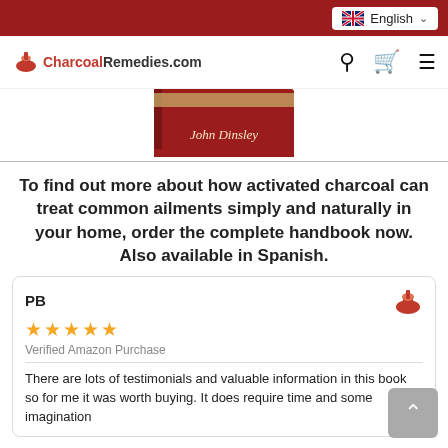English
[Figure (logo): CharcoalRemedies.com logo with mortar and pestle icon and navigation icons (search, cart, hamburger menu)]
[Figure (photo): Partial image of a red book spine by John Dinsley]
To find out more about how activated charcoal can treat common ailments simply and naturally in your home, order the complete handbook now. Also available in Spanish.
PB
★★★★★
Verified Amazon Purchase
There are lots of testimonials and valuable information in this book so for me it was worth buying. It does require time and some imagination